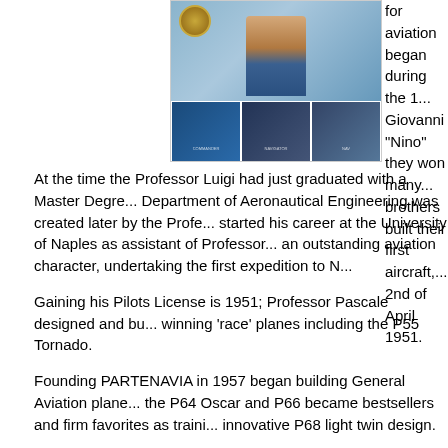[Figure (photo): Photo collage showing a person with crossed arms at top and three smaller aviation-related images at bottom including what appears to be aircraft or cockpit scenes, with a circular badge/logo in upper left]
for aviation began during the 1... Giovanni "Nino" they won many... brothers built their first aircraft,... 2nd of April 1951.
At the time the Professor Luigi had just graduated with a Master Degre... Department of Aeronautical Engineering was created later by the Profe... started his career at the University of Naples as assistant of Professor... an outstanding aviation character, undertaking the first expedition to N...
Gaining his Pilots License is 1951; Professor Pascale designed and bu... winning 'race' planes including the P55 Tornado.
Founding PARTENAVIA in 1957 began building General Aviation plane... the P64 Oscar and P66 became bestsellers and firm favorites as traini... innovative P68 light twin design.
In 1986 the two Pascale brothers founded TECNAM, and Professor Pa... now flown 200,000 hours with over 3,500 in service worldwide.